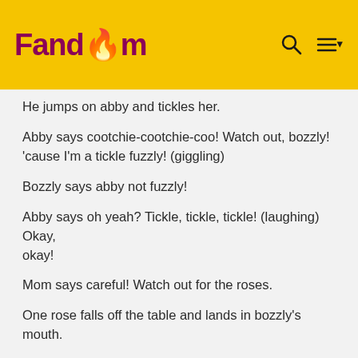Fandom
He jumps on abby and tickles her.
Abby says cootchie-cootchie-coo! Watch out, bozzly! 'cause I'm a tickle fuzzly! (giggling)
Bozzly says abby not fuzzly!
Abby says oh yeah? Tickle, tickle, tickle! (laughing) Okay, okay!
Mom says careful! Watch out for the roses.
One rose falls off the table and lands in bozzly's mouth.
Abby says sorry, mom!